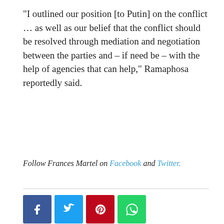“I outlined our position [to Putin] on the conflict … as well as our belief that the conflict should be resolved through mediation and negotiation between the parties and – if need be – with the help of agencies that can help,” Ramaphosa reportedly said.
Follow Frances Martel on Facebook and Twitter.
[Figure (infographic): Social media share buttons: Facebook (blue), Twitter (light blue), Pinterest (red), WhatsApp (green)]
Previous article
Oil Minister Accused of Hezbollah, Drug Trafficking
Next article
Putin Cornered Like A Rat & Will Do Whatever Necessary